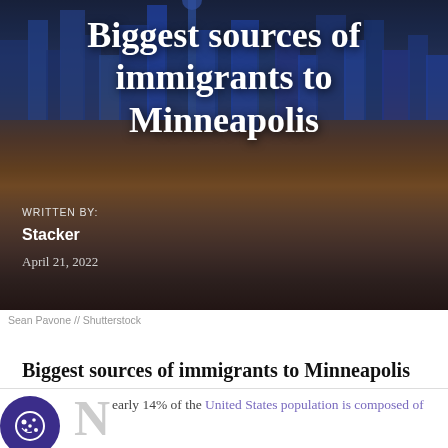[Figure (photo): City skyline at night with colorful reflections on water — appears to be Shanghai or similar Asian city skyline used as hero image background]
Biggest sources of immigrants to Minneapolis
WRITTEN BY:
Stacker
April 21, 2022
Sean Pavone // Shutterstock
Biggest sources of immigrants to Minneapolis
Nearly 14% of the United States population is composed of